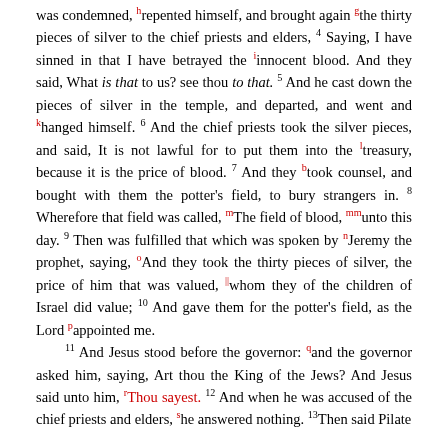was condemned, h repented himself, and brought again g the thirty pieces of silver to the chief priests and elders, 4 Saying, I have sinned in that I have betrayed the i innocent blood. And they said, What is that to us? see thou to that. 5 And he cast down the pieces of silver in the temple, and departed, and went and k hanged himself. 6 And the chief priests took the silver pieces, and said, It is not lawful for to put them into the l treasury, because it is the price of blood. 7 And they b took counsel, and bought with them the potter's field, to bury strangers in. 8 Wherefore that field was called, m The field of blood, mm unto this day. 9 Then was fulfilled that which was spoken by n Jeremy the prophet, saying, o And they took the thirty pieces of silver, the price of him that was valued, || whom they of the children of Israel did value; 10 And gave them for the potter's field, as the Lord p appointed me. 11 And Jesus stood before the governor: q and the governor asked him, saying, Art thou the King of the Jews? And Jesus said unto him, r Thou sayest. 12 And when he was accused of the chief priests and elders, s he answered nothing. 13 Then said Pilate